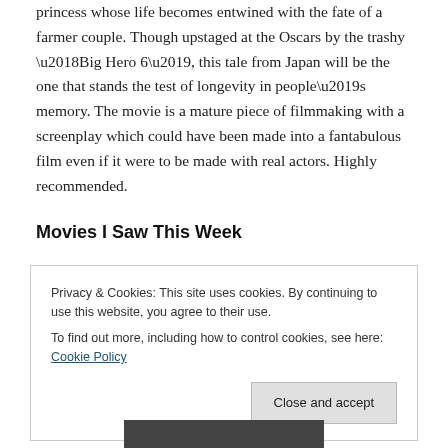masterpiece in animation tells the story of an enigmatic princess whose life becomes entwined with the fate of a farmer couple. Though upstaged at the Oscars by the trashy ‘Big Hero 6’, this tale from Japan will be the one that stands the test of longevity in people’s memory. The movie is a mature piece of filmmaking with a screenplay which could have been made into a fantabulous film even if it were to be made with real actors. Highly recommended.
Movies I Saw This Week
Privacy & Cookies: This site uses cookies. By continuing to use this website, you agree to their use.
To find out more, including how to control cookies, see here: Cookie Policy
[Figure (photo): Partial image of a movie scene visible at the bottom of the page]